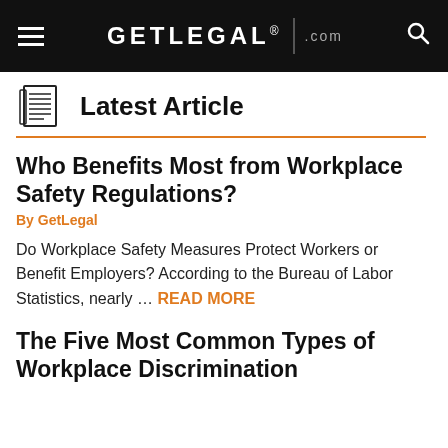GETLEGAL® .com
Latest Article
Who Benefits Most from Workplace Safety Regulations?
By GetLegal
Do Workplace Safety Measures Protect Workers or Benefit Employers? According to the Bureau of Labor Statistics, nearly … READ MORE
The Five Most Common Types of Workplace Discrimination